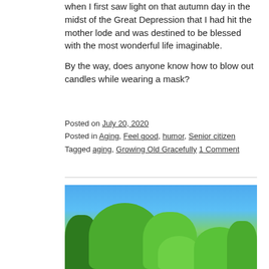when I first saw light on that autumn day in the midst of the Great Depression that I had hit the mother lode and was destined to be blessed with the most wonderful life imaginable.

By the way, does anyone know how to blow out candles while wearing a mask?
Posted on July 20, 2020
Posted in Aging, Feel good, humor, Senior citizen
Tagged aging, Growing Old Gracefully 1 Comment
[Figure (photo): Photo of green trees with lush foliage against a bright blue sky]